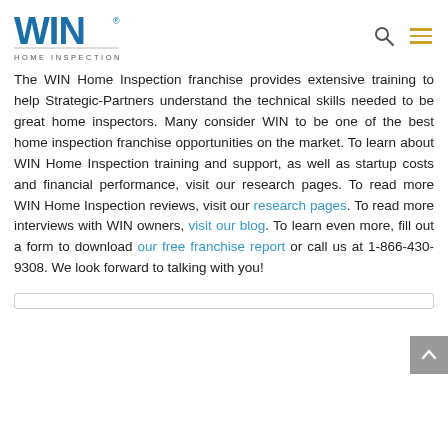[Figure (logo): WIN Home Inspection logo with blue WIN text and tagline HOME INSPECTION]
The WIN Home Inspection franchise provides extensive training to help Strategic-Partners understand the technical skills needed to be great home inspectors. Many consider WIN to be one of the best home inspection franchise opportunities on the market. To learn about WIN Home Inspection training and support, as well as startup costs and financial performance, visit our research pages. To read more WIN Home Inspection reviews, visit our research pages. To read more interviews with WIN owners, visit our blog. To learn even more, fill out a form to download our free franchise report or call us at 1-866-430-9308. We look forward to talking with you!